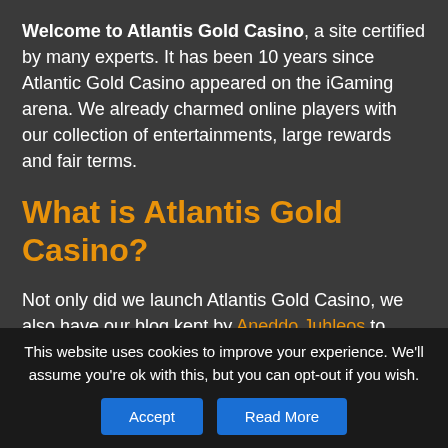Welcome to Atlantis Gold Casino, a site certified by many experts. It has been 10 years since Atlantic Gold Casino appeared on the iGaming arena. We already charmed online players with our collection of entertainments, large rewards and fair terms.
What is Atlantis Gold Casino?
Not only did we launch Atlantis Gold Casino, we also have our blog kept by Aneddo Juhleos to inform our players about the best games, hot software providers, our bonus hunting study, safe banking options, interesting facts and many more.
This website uses cookies to improve your experience. We'll assume you're ok with this, but you can opt-out if you wish.